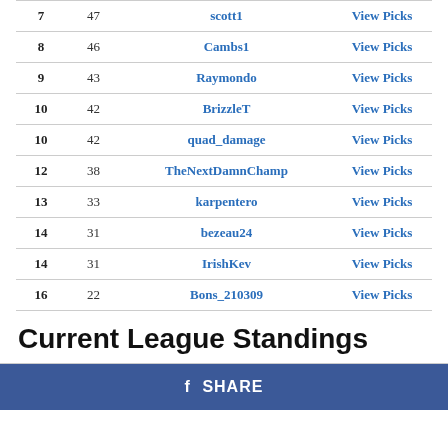| Rank | Points | Username | Action |
| --- | --- | --- | --- |
| 7 | 47 | scott1 | View Picks |
| 8 | 46 | Cambs1 | View Picks |
| 9 | 43 | Raymondo | View Picks |
| 10 | 42 | BrizzleT | View Picks |
| 10 | 42 | quad_damage | View Picks |
| 12 | 38 | TheNextDamnChamp | View Picks |
| 13 | 33 | karpentero | View Picks |
| 14 | 31 | bezeau24 | View Picks |
| 14 | 31 | IrishKev | View Picks |
| 16 | 22 | Bons_210309 | View Picks |
Current League Standings
SHARE